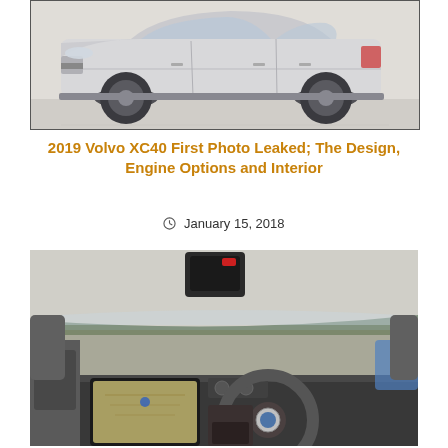[Figure (photo): Side profile photo of a white/silver Volvo XC40 SUV on a light grey background, shown against a white studio backdrop with black border frame]
2019 Volvo XC40 First Photo Leaked; The Design, Engine Options and Interior
January 15, 2018
[Figure (photo): Interior photo of a Volvo XC90/XC40 showing the dashboard, steering wheel, large touchscreen infotainment display, and front seats, taken from driver's side with countryside visible through windows]